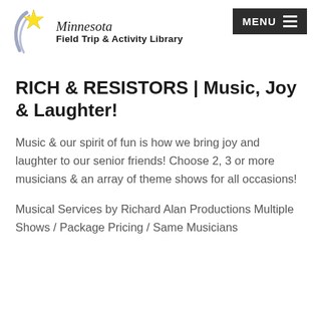[Figure (logo): Minnesota Field Trip & Activity Library logo with shooting star graphic]
RICH & RESISTORS | Music, Joy & Laughter!
Music & our spirit of fun is how we bring joy and laughter to our senior friends! Choose 2, 3 or more musicians & an array of theme shows for all occasions!
Musical Services by Richard Alan Productions Multiple Shows / Package Pricing / Same Musicians